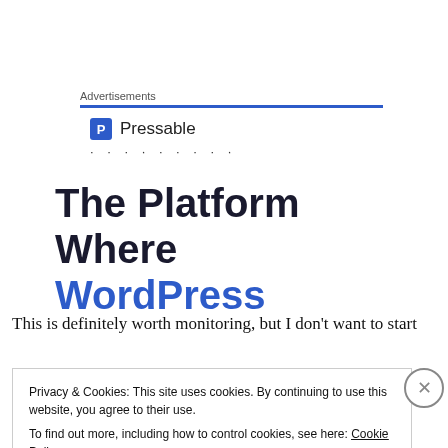Advertisements
[Figure (logo): Pressable logo with blue square P icon and text 'Pressable', followed by a row of dots]
The Platform Where WordPress
This is definitely worth monitoring, but I don't want to start
Privacy & Cookies: This site uses cookies. By continuing to use this website, you agree to their use.
To find out more, including how to control cookies, see here: Cookie Policy
Close and accept